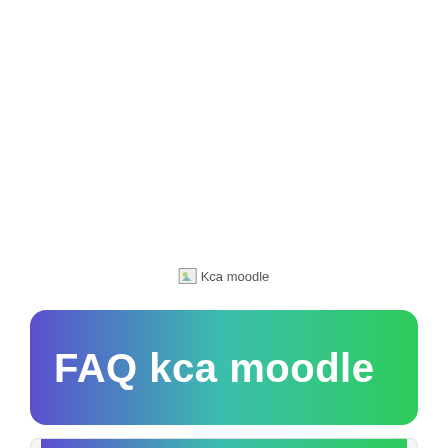[Figure (illustration): Broken image placeholder for 'Kca moodle' image, shown as a small broken image icon followed by the alt text 'Kca moodle']
FAQ kca moodle
[Figure (other): Bottom of another card/section beginning to appear at the bottom edge of the page, with a gradient button partially visible]